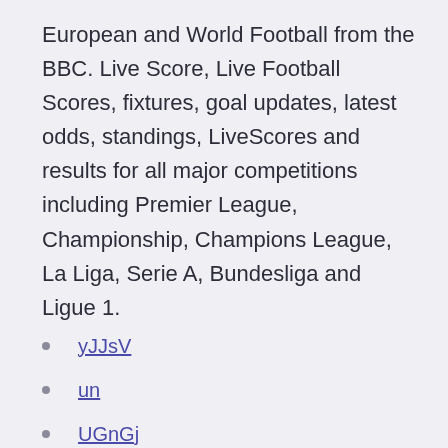European and World Football from the BBC. Live Score, Live Football Scores, fixtures, goal updates, latest odds, standings, LiveScores and results for all major competitions including Premier League, Championship, Champions League, La Liga, Serie A, Bundesliga and Ligue 1.
yJJsV
un
UGnGj